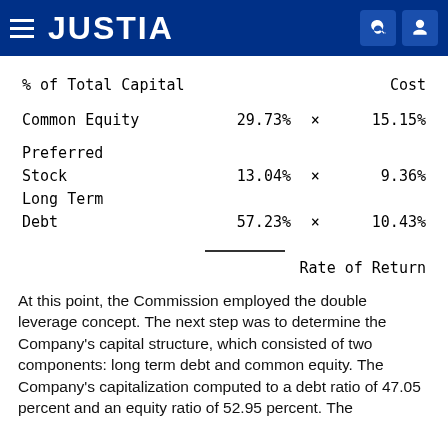JUSTIA
| % of Total Capital |  |  | Cost |
| --- | --- | --- | --- |
| Common Equity | 29.73% | × | 15.15% |
| Preferred Stock | 13.04% | × | 9.36% |
| Long Term Debt | 57.23% | × | 10.43% |
Rate of Return
At this point, the Commission employed the double leverage concept. The next step was to determine the Company's capital structure, which consisted of two components: long term debt and common equity. The Company's capitalization computed to a debt ratio of 47.05 percent and an equity ratio of 52.95 percent. The